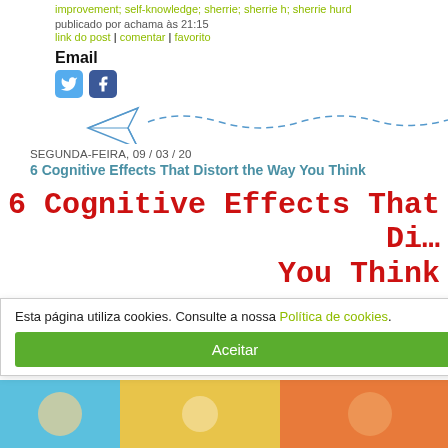improvement; self-knowledge; sherrie; sherrie h; sherrie hurd
publicado por achama às 21:15
link do post | comentar | favorito
Email
[Figure (illustration): Twitter and Facebook social media icons]
[Figure (illustration): Paper airplane with dashed flight path line]
SEGUNDA-FEIRA, 09 / 03 / 20
6 Cognitive Effects That Distort the Way You Think
6 Cognitive Effects That Di... You Think
Lottie Miles.
learning-mind.com
Posted March 7, 2020.
Esta página utiliza cookies. Consulte a nossa Política de cookies.
Aceitar
[Figure (illustration): Colorful cartoon image at bottom of page]